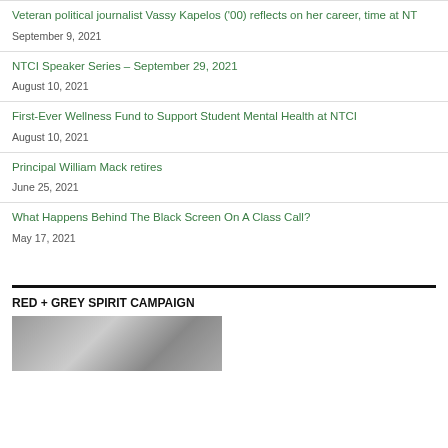Veteran political journalist Vassy Kapelos ('00) reflects on her career, time at NT
September 9, 2021
NTCI Speaker Series – September 29, 2021
August 10, 2021
First-Ever Wellness Fund to Support Student Mental Health at NTCI
August 10, 2021
Principal William Mack retires
June 25, 2021
What Happens Behind The Black Screen On A Class Call?
May 17, 2021
RED + GREY SPIRIT CAMPAIGN
[Figure (photo): Scoreboard photo related to Red + Grey Spirit Campaign]